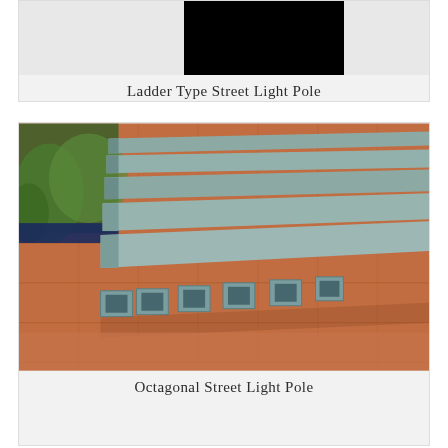[Figure (photo): Ladder Type Street Light Pole — partially visible photo, top portion of image mostly black]
Ladder Type Street Light Pole
[Figure (photo): Octagonal Street Light Poles — several octagonal steel poles laid on a brick/paved surface outdoors, with plants in background]
Octagonal Street Light Pole